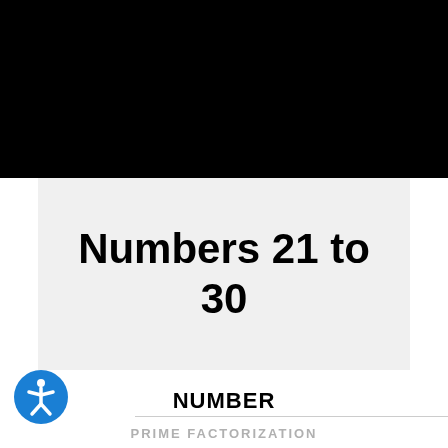Numbers 21 to 30
NUMBER
PRIME FACTORIZATION